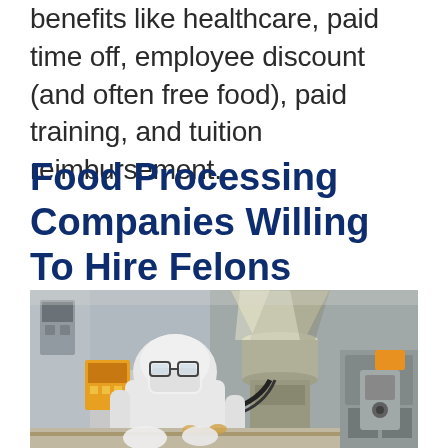benefits like healthcare, paid time off, employee discount (and often free food), paid training, and tuition reimbursement.
Food Processing Companies Willing To Hire Felons
[Figure (photo): A worker in a white protective suit, face mask, and glasses operating industrial food processing machinery in a factory setting.]